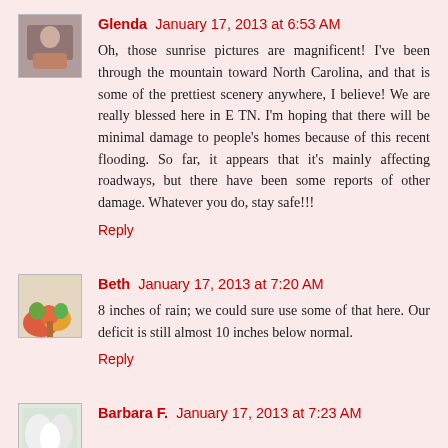Glenda  January 17, 2013 at 6:53 AM
Oh, those sunrise pictures are magnificent! I've been through the mountain toward North Carolina, and that is some of the prettiest scenery anywhere, I believe! We are really blessed here in E TN. I'm hoping that there will be minimal damage to people's homes because of this recent flooding. So far, it appears that it's mainly affecting roadways, but there have been some reports of other damage. Whatever you do, stay safe!!!
Reply
Beth  January 17, 2013 at 7:20 AM
8 inches of rain; we could sure use some of that here. Our deficit is still almost 10 inches below normal.
Reply
Barbara F.  January 17, 2013 at 7:23 AM